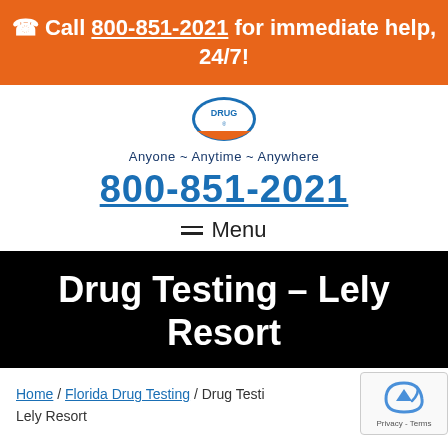☎ Call 800-851-2021 for immediate help, 24/7!
[Figure (logo): Circular drug testing logo with text 'DRUG' and tagline 'Anyone ~ Anytime ~ Anywhere']
Anyone ~ Anytime ~ Anywhere
800-851-2021
≡ Menu
Drug Testing – Lely Resort
Home / Florida Drug Testing / Drug Testing – Lely Resort
Lely Resort